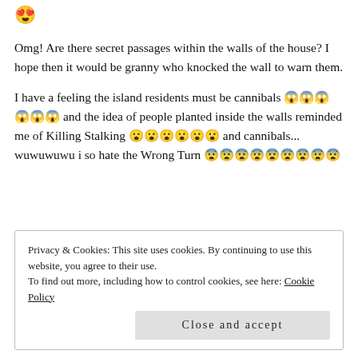[Figure (other): Heart-eyes emoji 😍]
Omg! Are there secret passages within the walls of the house? I hope then it would be granny who knocked the wall to warn them.
I have a feeling the island residents must be cannibals 😱😱😱😱😱😱 and the idea of people planted inside the walls reminded me of Killing Stalking 😮😮😮😮😮😮 and cannibals... wuwuwuwu i so hate the Wrong Turn 😨😨😨😨😨😨😨😨😨
Privacy & Cookies: This site uses cookies. By continuing to use this website, you agree to their use.
To find out more, including how to control cookies, see here: Cookie Policy
Close and accept